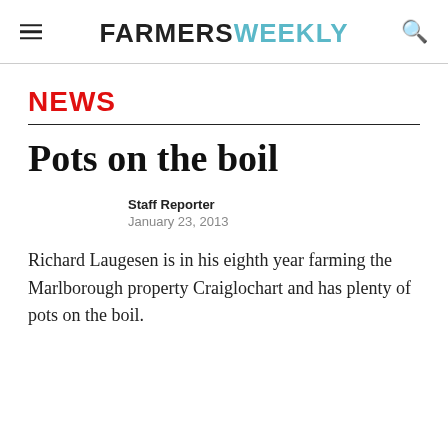FARMERS WEEKLY
NEWS
Pots on the boil
Staff Reporter
January 23, 2013
Richard Laugesen is in his eighth year farming the Marlborough property Craiglochart and has plenty of pots on the boil.